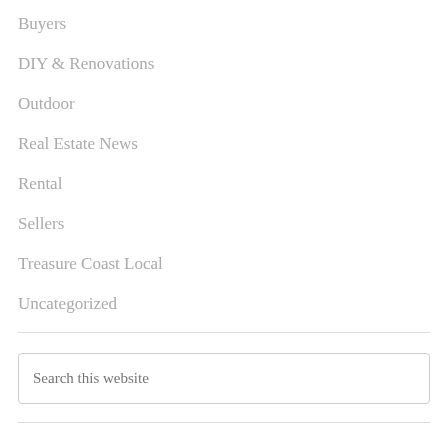Buyers
DIY & Renovations
Outdoor
Real Estate News
Rental
Sellers
Treasure Coast Local
Uncategorized
Search this website
Search Properties
Location